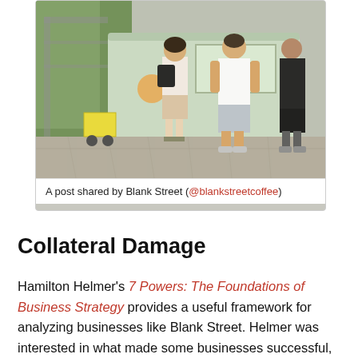[Figure (photo): People standing at a Blank Street coffee food truck/cart outdoors on a sunny day. Two people face away from camera ordering at the green truck. Street scene with dappled light.]
A post shared by Blank Street (@blankstreetcoffee)
Collateral Damage
Hamilton Helmer's 7 Powers: The Foundations of Business Strategy provides a useful framework for analyzing businesses like Blank Street. Helmer was interested in what made some businesses successful,